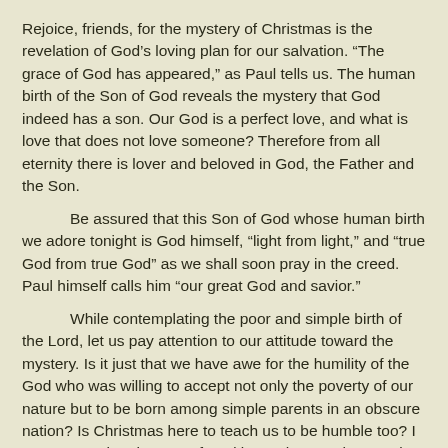Rejoice, friends, for the mystery of Christmas is the revelation of God’s loving plan for our salvation. “The grace of God has appeared,” as Paul tells us. The human birth of the Son of God reveals the mystery that God indeed has a son. Our God is a perfect love, and what is love that does not love someone? Therefore from all eternity there is lover and beloved in God, the Father and the Son.
Be assured that this Son of God whose human birth we adore tonight is God himself, “light from light,” and “true God from true God” as we shall soon pray in the creed. Paul himself calls him “our great God and savior.”
While contemplating the poor and simple birth of the Lord, let us pay attention to our attitude toward the mystery. Is it just that we have awe for the humility of the God who was willing to accept not only the poverty of our nature but to be born among simple parents in an obscure nation? Is Christmas here to teach us to be humble too? I assure you that the Son of God is much more than a role model, though he is surely that as well. Paul tells us that this appearance of the grace of God will, in fact, “deliver us from all